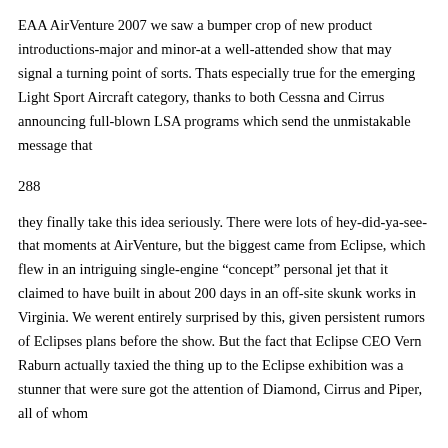EAA AirVenture 2007 we saw a bumper crop of new product introductions-major and minor-at a well-attended show that may signal a turning point of sorts. Thats especially true for the emerging Light Sport Aircraft category, thanks to both Cessna and Cirrus announcing full-blown LSA programs which send the unmistakable message that
288
they finally take this idea seriously. There were lots of hey-did-ya-see-that moments at AirVenture, but the biggest came from Eclipse, which flew in an intriguing single-engine “concept” personal jet that it claimed to have built in about 200 days in an off-site skunk works in Virginia. We werent entirely surprised by this, given persistent rumors of Eclipses plans before the show. But the fact that Eclipse CEO Vern Raburn actually taxied the thing up to the Eclipse exhibition was a stunner that were sure got the attention of Diamond, Cirrus and Piper, all of whom